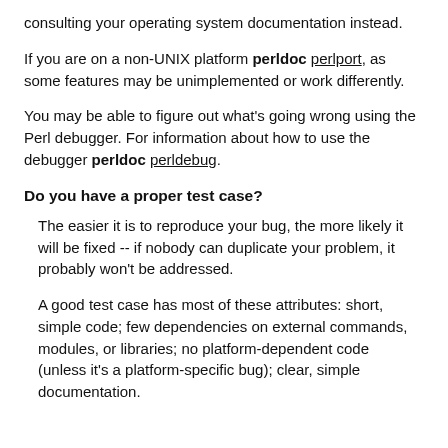consulting your operating system documentation instead.
If you are on a non-UNIX platform perldoc perlport, as some features may be unimplemented or work differently.
You may be able to figure out what's going wrong using the Perl debugger. For information about how to use the debugger perldoc perldebug.
Do you have a proper test case?
The easier it is to reproduce your bug, the more likely it will be fixed -- if nobody can duplicate your problem, it probably won't be addressed.
A good test case has most of these attributes: short, simple code; few dependencies on external commands, modules, or libraries; no platform-dependent code (unless it's a platform-specific bug); clear, simple documentation.